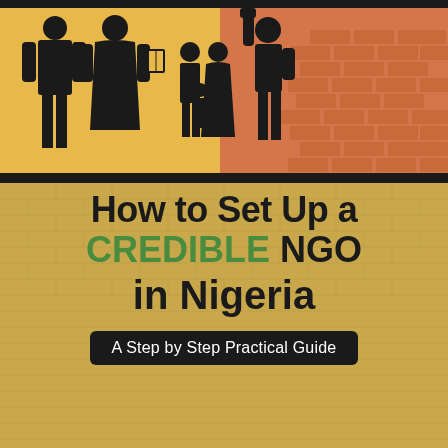[Figure (illustration): Cover illustration showing black silhouette figures on yellow/orange background: a doctor and patient on the left (yellow), a family group in the center, and a person with raised fist and a brick wall on the right (orange/terracotta). Dark band across the top.]
How to Set Up a CREDIBLE NGO in Nigeria
A Step by Step Practical Guide